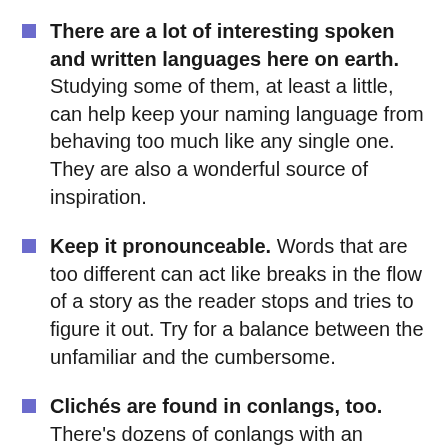There are a lot of interesting spoken and written languages here on earth. Studying some of them, at least a little, can help keep your naming language from behaving too much like any single one. They are also a wonderful source of inspiration.
Keep it pronounceable. Words that are too different can act like breaks in the flow of a story as the reader stops and tries to figure it out. Try for a balance between the unfamiliar and the cumbersome.
Clichés are found in conlangs, too. There's dozens of conlangs with an overdose of dashes and apostrophes, or an evil speech impediment...